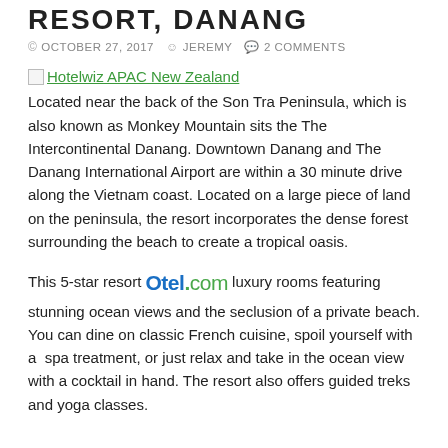RESORT, DANANG
© OCTOBER 27, 2017  JEREMY  2 COMMENTS
Hotelwiz APAC New Zealand
Located near the back of the Son Tra Peninsula, which is also known as Monkey Mountain sits the The Intercontinental Danang. Downtown Danang and The Danang International Airport are within a 30 minute drive along the Vietnam coast. Located on a large piece of land on the peninsula, the resort incorporates the dense forest surrounding the beach to create a tropical oasis.
This 5-star resort Otel.com luxury rooms featuring stunning ocean views and the seclusion of a private beach. You can dine on classic French cuisine, spoil yourself with a spa treatment, or just relax and take in the ocean view with a cocktail in hand. The resort also offers guided treks and yoga classes.